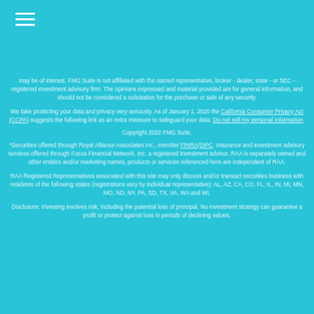[Figure (other): Hamburger menu icon with three horizontal lines]
may be of interest. FMG Suite is not affiliated with the named representative, broker - dealer, state - or SEC - registered investment advisory firm. The opinions expressed and material provided are for general information, and should not be considered a solicitation for the purchase or sale of any security.
We take protecting your data and privacy very seriously. As of January 1, 2020 the California Consumer Privacy Act (CCPA) suggests the following link as an extra measure to safeguard your data: Do not sell my personal information.
Copyright 2022 FMG Suite.
*Securities offered through Royal Alliance Associates Inc., member FINRA/SIPC. Insurance and investment advisory services offered through Focus Financial Network, Inc. a registered investment advisor. RAA is separately owned and other entities and/or marketing names, products or services referenced here are independent of RAA.
RAA Registered Representatives associated with this site may only discuss and/or transact securities business with residents of the following states (registrations vary by individual representative): AL, AZ, CA, CO, FL, IL, IN, MI, MN, MO, ND, NY, PA, SD, TX, VA, WA and WI.
Disclosure: Investing involves risk, including the potential loss of principal. No investment strategy can guarantee a profit or protect against loss in periods of declining values.